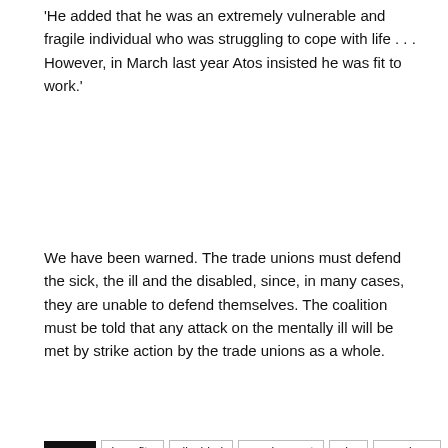'He added that he was an extremely vulnerable and fragile individual who was struggling to cope with life . . . However, in March last year Atos insisted he was fit to work.'
We have been warned. The trade unions must defend the sick, the ill and the disabled, since, in many cases, they are unable to defend themselves. The coalition must be told that any attack on the mentally ill will be met by strike action by the trade unions as a whole.
TAGS  benefits  disabled  employment  nhs  pensions  protest  strike  unions